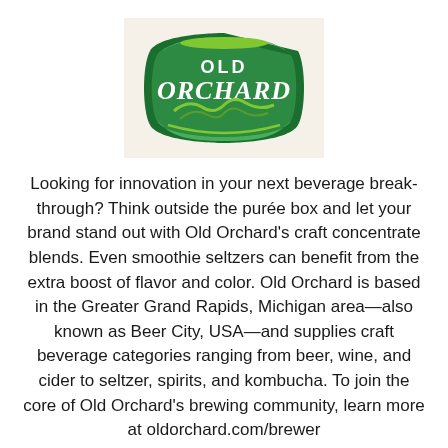[Figure (logo): Old Orchard brand logo — green shield/badge shape with 'OLD ORCHARD' text in white and green wave/orchard illustration]
Looking for innovation in your next beverage breakthrough? Think outside the purée box and let your brand stand out with Old Orchard's craft concentrate blends. Even smoothie seltzers can benefit from the extra boost of flavor and color. Old Orchard is based in the Greater Grand Rapids, Michigan area—also known as Beer City, USA—and supplies craft beverage categories ranging from beer, wine, and cider to seltzer, spirits, and kombucha. To join the core of Old Orchard's brewing community, learn more at oldorchard.com/brewer